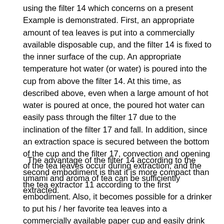using the filter 14 which concerns on a present Example is demonstrated. First, an appropriate amount of tea leaves is put into a commercially available disposable cup, and the filter 14 is fixed to the inner surface of the cup. An appropriate temperature hot water (or water) is poured into the cup from above the filter 14. At this time, as described above, even when a large amount of hot water is poured at once, the poured hot water can easily pass through the filter 17 due to the inclination of the filter 17 and fall. In addition, since an extraction space is secured between the bottom of the cup and the filter 17, convection and opening of the tea leaves occur during extraction, and the umami and aroma of tea can be sufficiently extracted.
The advantage of the filter 14 according to the second embodiment is that it is more compact than the tea extractor 11 according to the first embodiment. Also, it becomes possible for a drinker to put his / her favorite tea leaves into a commercially available paper cup and easily drink his / her favorite tea. Moreover, since the tea husk, the paper cup, and the filter 14 according to the present embodiment are all flammable, they can be discarded together and can be easily disposed of after drinking.